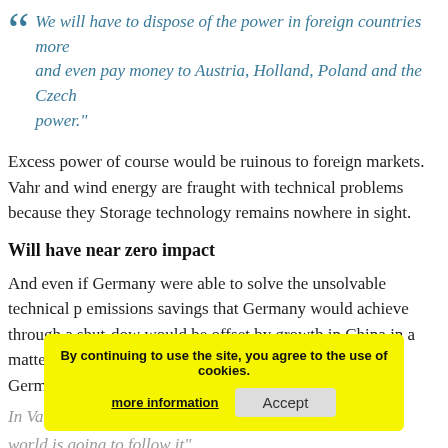“We will have to dispose of the power in foreign countries more and even pay money to Austria, Holland, Poland and the Czech power.”
Excess power of course would be ruinous to foreign markets. Vahr and wind energy are fraught with technical problems because they Storage technology remains nowhere in sight.
Will have near zero impact
And even if Germany were able to solve the unsolvable technical p emissions savings that Germany would achieve through a shut-dow would be offset by growth in China in a matter of just 2 months. Th “climate protection” at all and Germans would only be able to boas a power supply.
In Vahrenholt’s view, the German model is so costly t world is going to follow it”.
By continuing to use the site, you agree to the use of cookies. more information | Accept